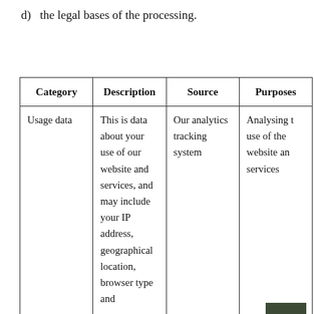d)  the legal bases of the processing.
| Category | Description | Source | Purposes |
| --- | --- | --- | --- |
| Usage data | This is data about your use of our website and services, and may include your IP address, geographical location, browser type and | Our analytics tracking system | Analysing the use of the website and services |